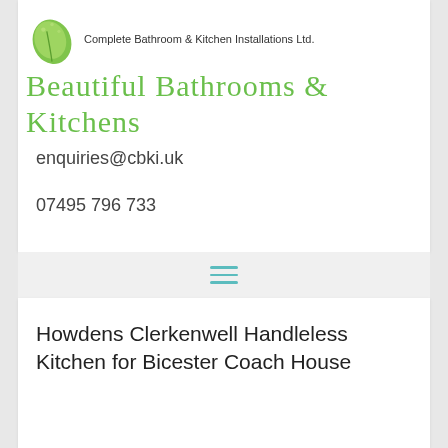[Figure (logo): Complete Bathroom & Kitchen Installations Ltd. logo with green leaf icon and cursive 'Beautiful Bathrooms & Kitchens' text]
enquiries@cbki.uk
07495 796 733
[Figure (other): Hamburger menu icon with three teal horizontal lines]
Howdens Clerkenwell Handleless Kitchen for Bicester Coach House